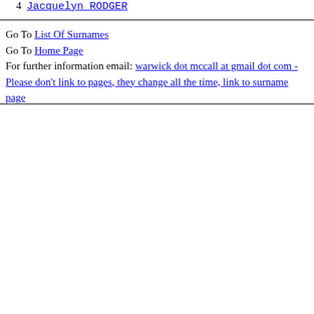4  Jacquelyn RODGER
Go To List Of Surnames
Go To Home Page
For further information email: warwick dot mccall at gmail dot com - Please don't link to pages, they change all the time, link to surname page